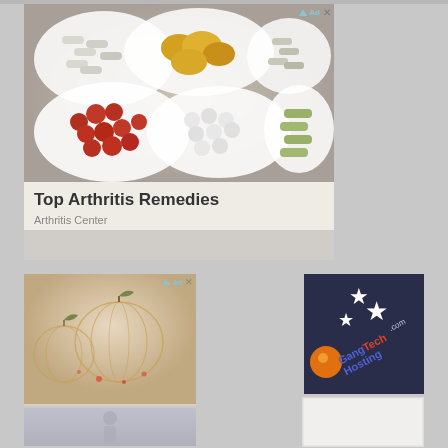[Figure (photo): Advertisement image showing multiple white bowls/dishes containing various vitamin and supplement pills and capsules (red softgels, yellow capsules, white tablets, green capsules) arranged on a marble surface]
Top Arthritis Remedies
Arthritis Center
[Figure (photo): Advertisement image showing decorative wire-frame pumpkin ornaments with lights, in warm beige/gold tones]
[Figure (logo): GangTechHosting.com logo on dark navy background with white stars and orange globe graphic, text in blue and multi-color]
[Figure (photo): Partially visible image at bottom left, appears to show a figure or scene in grey/blue tones]
[Figure (other): Blank white/light grey advertisement placeholder box at bottom right]